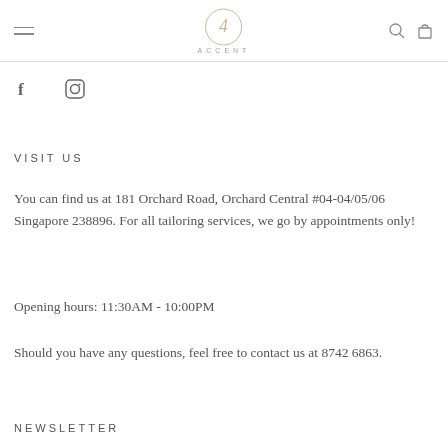ACCENT
[Figure (logo): Accent brand logo with stylized '4' monogram and text ACCENT below]
[Figure (infographic): Facebook and Instagram social media icons]
VISIT US
You can find us at 181 Orchard Road, Orchard Central #04-04/05/06 Singapore 238896. For all tailoring services, we go by appointments only!
Opening hours: 11:30AM - 10:00PM
Should you have any questions, feel free to contact us at 8742 6863.
NEWSLETTER